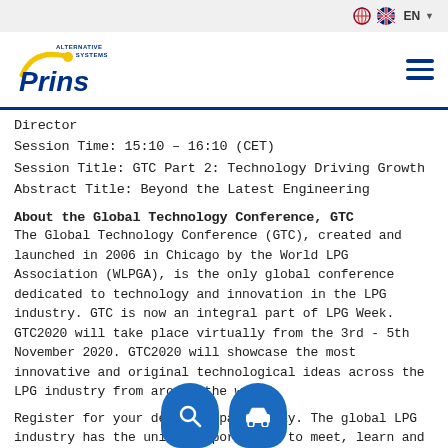EN
[Figure (logo): Prins Alternative Fuel Systems logo with yellow swoosh and blue text]
Director
Session Time: 15:10 – 16:10 (CET)
Session Title: GTC Part 2: Technology Driving Growth
Abstract Title: Beyond the Latest Engineering
About the Global Technology Conference, GTC
The Global Technology Conference (GTC), created and launched in 2006 in Chicago by the World LPG Association (WLPGA), is the only global conference dedicated to technology and innovation in the LPG industry. GTC is now an integral part of LPG Week. GTC2020 will take place virtually from the 3rd - 5th November 2020. GTC2020 will showcase the most innovative and original technological ideas across the LPG industry from around the world.
Register for your delegate pass today. The global LPG industry has the unique opportunity to meet, learn and do business during e-LPG Week.